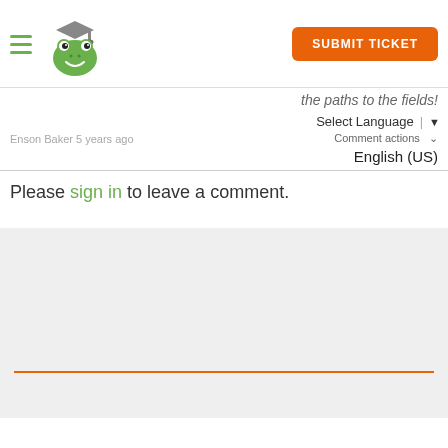SUBMIT TICKET
the paths to the fields!
Select Language
Enson Baker 5 years ago  Comment actions
English (US)
Please sign in to leave a comment.